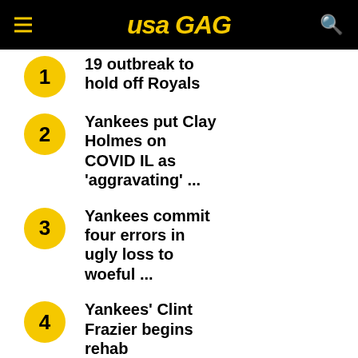USA GAG
19 outbreak to hold off Royals
Yankees put Clay Holmes on COVID IL as 'aggravating' ...
Yankees commit four errors in ugly loss to woeful ...
Yankees' Clint Frazier begins rehab assignment in Tampa